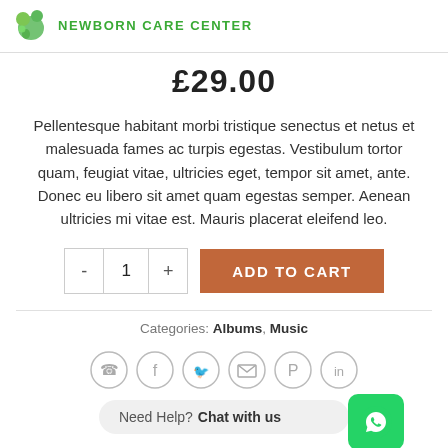NEWBORN CARE CENTER
£29.00
Pellentesque habitant morbi tristique senectus et netus et malesuada fames ac turpis egestas. Vestibulum tortor quam, feugiat vitae, ultricies eget, tempor sit amet, ante. Donec eu libero sit amet quam egestas semper. Aenean ultricies mi vitae est. Mauris placerat eleifend leo.
- 1 + ADD TO CART
Categories: Albums, Music
[Figure (infographic): Social sharing icons: WhatsApp, Facebook, Twitter, Email, Pinterest, LinkedIn in circles]
Need Help? Chat with us